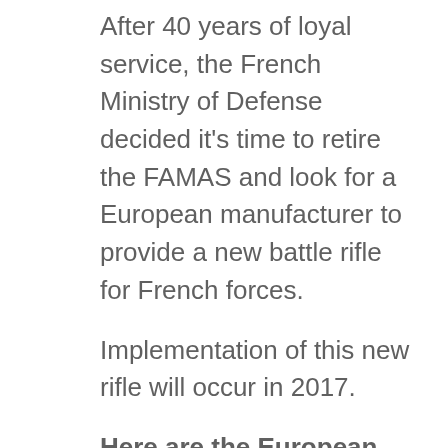After 40 years of loyal service, the French Ministry of Defense decided it's time to retire the FAMAS and look for a European manufacturer to provide a new battle rifle for French forces.
Implementation of this new rifle will occur in 2017.
Here are the European manufacturers competing for a chance to win the contract:
Beretta Defense Technologies (Italy)
FN Herstal (Belgium)
Heckler und Koch (Germany)